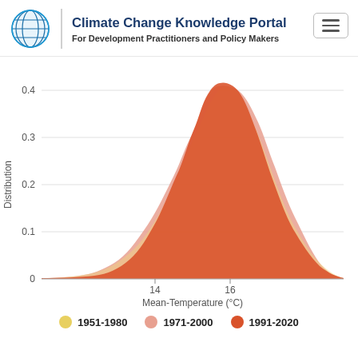Climate Change Knowledge Portal — For Development Practitioners and Policy Makers
[Figure (continuous-plot): Overlapping distribution curves for Mean-Temperature (°C) for three periods: 1951-1980 (yellow), 1971-2000 (light salmon/pink), 1991-2020 (dark salmon/orange-red). The distributions are bell-shaped, centered around 14-16°C, with the 1991-2020 distribution shifted slightly right. Y-axis labeled 'Distribution' with values 0, 0.1, 0.2, 0.3, 0.4. X-axis labeled 'Mean-Temperature (°C)' with ticks at 14 and 16.]
1951-1980   1971-2000   1991-2020